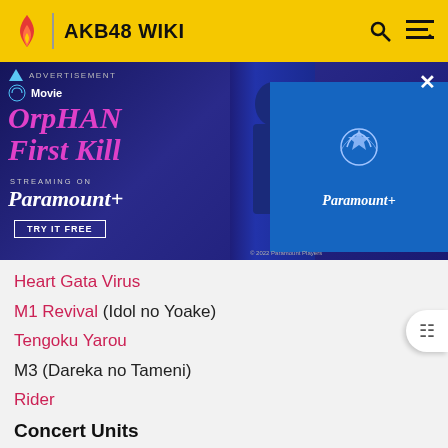AKB48 WIKI
[Figure (screenshot): Paramount+ advertisement banner for Orphan: First Kill movie]
Heart Gata Virus
M1 Revival (Idol no Yoake)
Tengoku Yarou
M3 (Dareka no Tameni)
Rider
Concert Units
NMB48 National Tour
Kobe International House (Kobe)